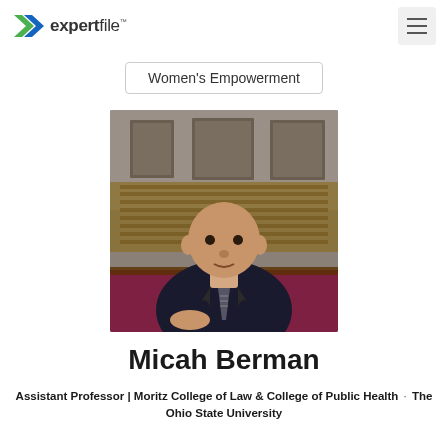expertfile
Women's Empowerment
[Figure (photo): Professional headshot of Micah Berman, a man in a dark suit with striped tie, seated in what appears to be a law library with framed portraits in the background.]
Micah Berman
Assistant Professor | Moritz College of Law & College of Public Health · The Ohio State University